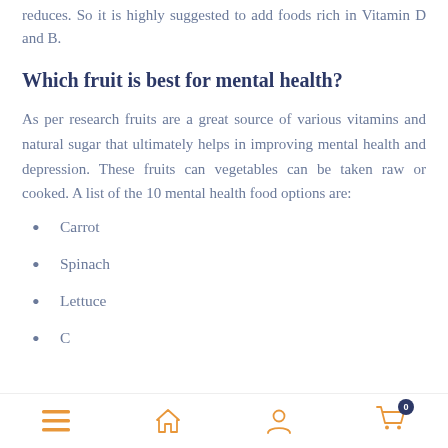reduces. So it is highly suggested to add foods rich in Vitamin D and B.
Which fruit is best for mental health?
As per research fruits are a great source of various vitamins and natural sugar that ultimately helps in improving mental health and depression. These fruits can vegetables can be taken raw or cooked. A list of the 10 mental health food options are:
Carrot
Spinach
Lettuce
C...
Navigation bar with menu, home, profile, cart icons